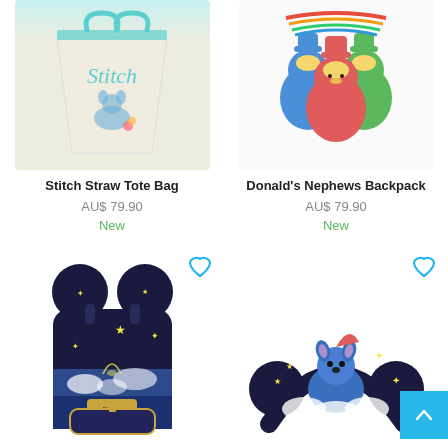[Figure (photo): Stitch Straw Tote Bag - cream colored canvas tote bag with Stitch character and script lettering]
Stitch Straw Tote Bag
AU$ 79.90
New
[Figure (photo): Donald's Nephews Backpack - plush backpack with Huey, Dewey, and Louie characters]
Donald's Nephews Backpack
AU$ 79.90
New
[Figure (photo): Dark navy blue Loungefly Mickey Mouse mini backpack with stars and Fantasia theme]
[Figure (photo): Stitch themed Mickey Mouse ears headband in dark navy blue with stars]